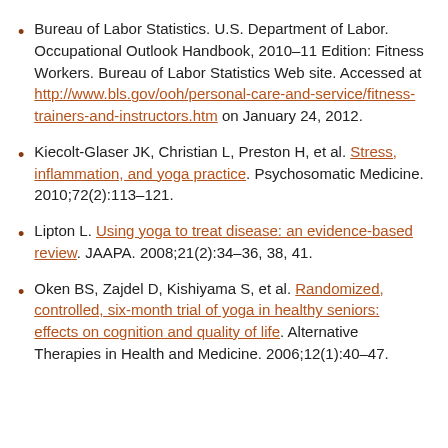Bureau of Labor Statistics. U.S. Department of Labor. Occupational Outlook Handbook, 2010–11 Edition: Fitness Workers. Bureau of Labor Statistics Web site. Accessed at http://www.bls.gov/ooh/personal-care-and-service/fitness-trainers-and-instructors.htm on January 24, 2012.
Kiecolt-Glaser JK, Christian L, Preston H, et al. Stress, inflammation, and yoga practice. Psychosomatic Medicine. 2010;72(2):113–121.
Lipton L. Using yoga to treat disease: an evidence-based review. JAAPA. 2008;21(2):34–36, 38, 41.
Oken BS, Zajdel D, Kishiyama S, et al. Randomized, controlled, six-month trial of yoga in healthy seniors: effects on cognition and quality of life. Alternative Therapies in Health and Medicine. 2006;12(1):40–47.